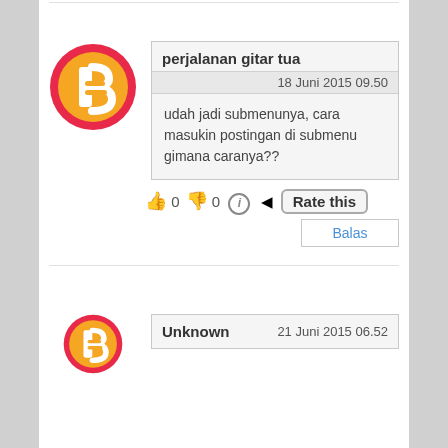[Figure (other): Blogger avatar icon — orange circle with pink/red border and white 'B' symbol, for user perjalanan gitar tua]
perjalanan gitar tua
18 Juni 2015 09.50
udah jadi submenunya, cara masukin postingan di submenu gimana caranya??
👍 0 👎 0 ℹ Rate this
Balas
[Figure (other): Blogger avatar icon — orange circle with pink/red border and white 'B' symbol, for user Unknown (partially visible)]
Unknown   21 Juni 2015 06.52